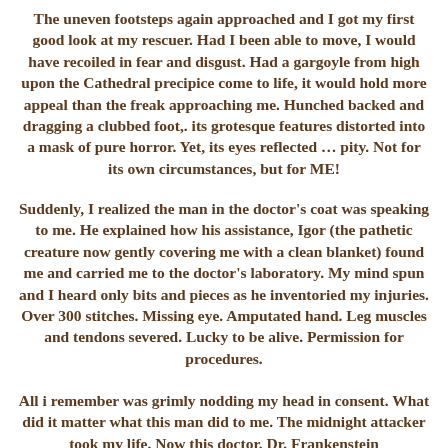The uneven footsteps again approached and I got my first good look at my rescuer. Had I been able to move, I would have recoiled in fear and disgust. Had a gargoyle from high upon the Cathedral precipice come to life, it would hold more appeal than the freak approaching me. Hunched backed and dragging a clubbed foot,. its grotesque features distorted into a mask of pure horror. Yet, its eyes reflected … pity. Not for its own circumstances, but for ME!
Suddenly, I realized the man in the doctor's coat was speaking to me. He explained how his assistance, Igor (the pathetic creature now gently covering me with a clean blanket) found me and carried me to the doctor's laboratory. My mind spun and I heard only bits and pieces as he inventoried my injuries. Over 300 stitches. Missing eye. Amputated hand. Leg muscles and tendons severed. Lucky to be alive. Permission for procedures.
All i remember was grimly nodding my head in consent. What did it matter what this man did to me. The midnight attacker took my life. Now this doctor. Dr. Frankenstein